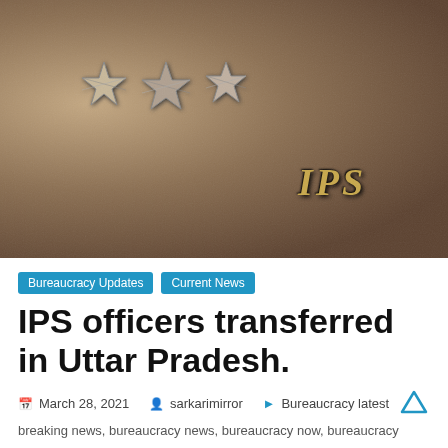[Figure (photo): Close-up photograph of IPS (Indian Police Service) uniform epaulette showing three silver stars and an IPS badge with gold lettering on a brown/tan leather-like surface]
Bureaucracy Updates
Current News
IPS officers transferred in Uttar Pradesh.
March 28, 2021   sarkarimirror   Bureaucracy latest
breaking news, bureaucracy news, bureaucracy now, bureaucracy